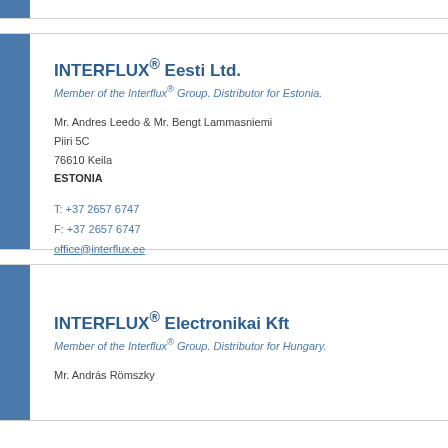INTERFLUX® Eesti Ltd.
Member of the Interflux® Group. Distributor for Estonia.
Mr. Andres Leedo & Mr. Bengt Lammasniemi
Piiri 5C
76610 Keila
ESTONIA
T: +37 2657 6747
F: +37 2657 6747
office@interflux.ee
www.interflux.ee
INTERFLUX® Electronikai Kft
Member of the Interflux® Group. Distributor for Hungary.
Mr. András Römszky